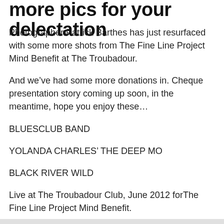more pics for your delectation
Photographer Patrick Barthes has just resurfaced with some more shots from The Fine Line Project Mind Benefit at The Troubadour.
And we've had some more donations in. Cheque presentation story coming up soon, in the meantime, hope you enjoy these…
BLUESCLUB BAND
YOLANDA CHARLES’ THE DEEP MO
BLACK RIVER WILD
Live at The Troubadour Club, June 2012 forThe Fine Line Project Mind Benefit.